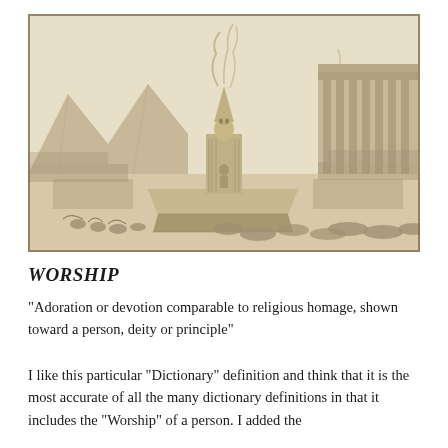[Figure (illustration): Historical engraving depicting a large idol or statue of a figure on a stepped platform/pedestal, with crowds of people bowing and kneeling in worship before it. Smoke or fire rises from the statue. In the background are mountains, buildings, and large gathered crowds. The scene depicts ancient idol worship.]
WORSHIP
“Adoration or devotion comparable to religious homage, shown toward a person, deity or principle”
I like this particular “Dictionary” definition and think that it is the most accurate of all the many dictionary definitions in that it includes the “Worship” of a person. I added the